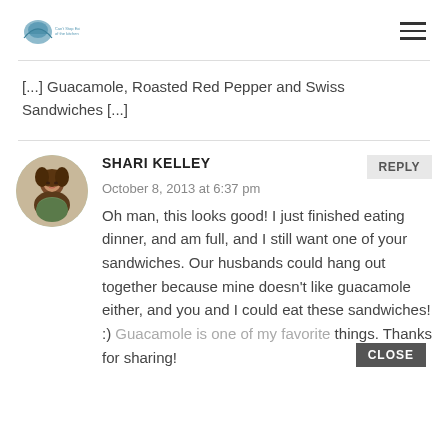Can't Stop Eating of the kitchen [logo] [hamburger menu]
[...] Guacamole, Roasted Red Pepper and Swiss Sandwiches [...]
SHARI KELLEY
October 8, 2013 at 6:37 pm

Oh man, this looks good! I just finished eating dinner, and am full, and I still want one of your sandwiches. Our husbands could hang out together because mine doesn't like guacamole either, and you and I could eat these sandwiches! :) Guacamole is one of my favorite things. Thanks for sharing!